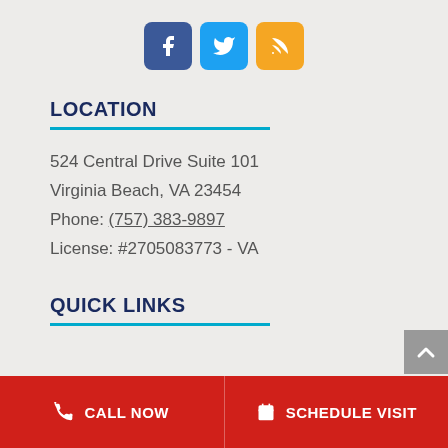[Figure (other): Social media icons: Facebook (blue), Twitter (light blue), RSS (orange)]
LOCATION
524 Central Drive Suite 101
Virginia Beach, VA 23454
Phone: (757) 383-9897
License: #2705083773 - VA
QUICK LINKS
[Figure (other): Gray scroll-to-top button with upward chevron arrow]
CALL NOW
SCHEDULE VISIT